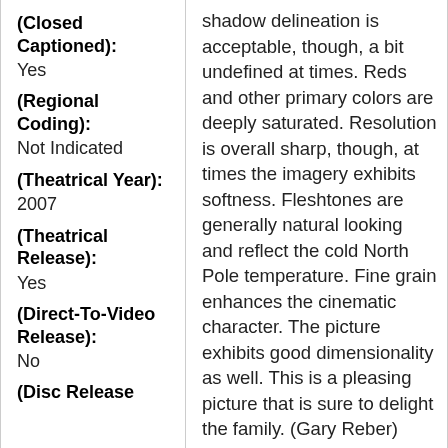(Closed Captioned): Yes
(Regional Coding): Not Indicated
(Theatrical Year): 2007
(Theatrical Release): Yes
(Direct-To-Video Release): No
(Disc Release
shadow delineation is acceptable, though, a bit undefined at times. Reds and other primary colors are deeply saturated. Resolution is overall sharp, though, at times the imagery exhibits softness. Fleshtones are generally natural looking and reflect the cold North Pole temperature. Fine grain enhances the cinematic character. The picture exhibits good dimensionality as well. This is a pleasing picture that is sure to delight the family. (Gary Reber)